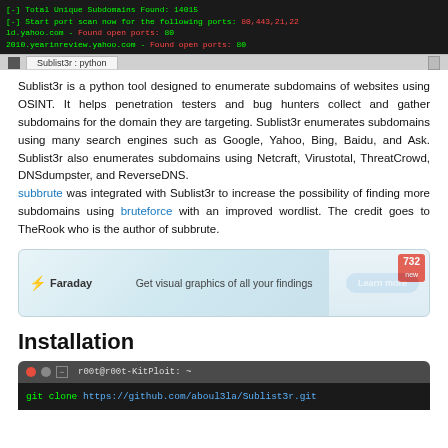[Figure (screenshot): Terminal window showing green text output: '[-] Total Unique Subdomains Found: 14015', '[-] Start port scan now for the following ports: 80,443,21,22', 'ld.yahoo.com - Found open ports: 80', '2010.yearinreview.yahoo.com - Found open ports: 80', with a terminal tab bar reading 'Sublist3r : python']
Sublist3r is a python tool designed to enumerate subdomains of websites using OSINT. It helps penetration testers and bug hunters collect and gather subdomains for the domain they are targeting. Sublist3r enumerates subdomains using many search engines such as Google, Yahoo, Bing, Baidu, and Ask. Sublist3r also enumerates subdomains using Netcraft, Virustotal, ThreatCrowd, DNSdumpster, and ReverseDNS.
subbrute was integrated with Sublist3r to increase the possibility of finding more subdomains using bruteforce with an improved wordlist. The credit goes to TheRook who is the author of subbrute.
[Figure (infographic): Faraday advertisement banner: Faraday logo on left, tagline 'Get visual graphics of all your findings', Learn more button, and screenshot with badge showing 732]
Installation
[Figure (screenshot): Terminal window with dark bar showing 'r00t@r00t-KitPloit: ~' and command: git clone https://github.com/aboul3la/Sublist3r.git]